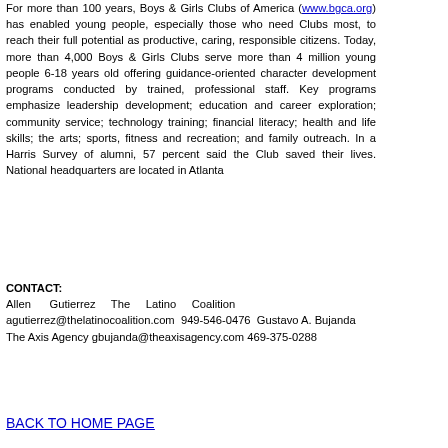For more than 100 years, Boys & Girls Clubs of America (www.bgca.org) has enabled young people, especially those who need Clubs most, to reach their full potential as productive, caring, responsible citizens. Today, more than 4,000 Boys & Girls Clubs serve more than 4 million young people 6-18 years old offering guidance-oriented character development programs conducted by trained, professional staff. Key programs emphasize leadership development; education and career exploration; community service; technology training; financial literacy; health and life skills; the arts; sports, fitness and recreation; and family outreach. In a Harris Survey of alumni, 57 percent said the Club saved their lives. National headquarters are located in Atlanta
CONTACT: Allen Gutierrez The Latino Coalition agutierrez@thelatinocoalition.com 949-546-0476 Gustavo A. Bujanda The Axis Agency gbujanda@theaxisagency.com 469-375-0288
BACK TO HOME PAGE